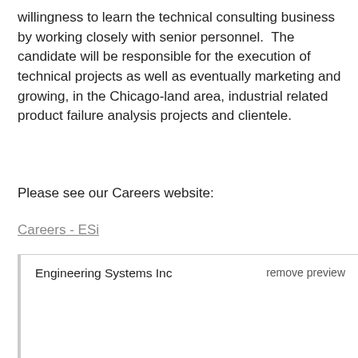willingness to learn the technical consulting business by working closely with senior personnel.  The candidate will be responsible for the execution of technical projects as well as eventually marketing and growing, in the Chicago-land area, industrial related product failure analysis projects and clientele.
Please see our Careers website:
Careers - ESi
[Figure (screenshot): A LinkedIn-style link preview card for Engineering Systems Inc showing 'Careers - ESi' title and partial description text: 'At ESi, our strength is our people. ESi consultants are recognized leaders in their fields, serving clients across a global footprint. We are committed to growing our']